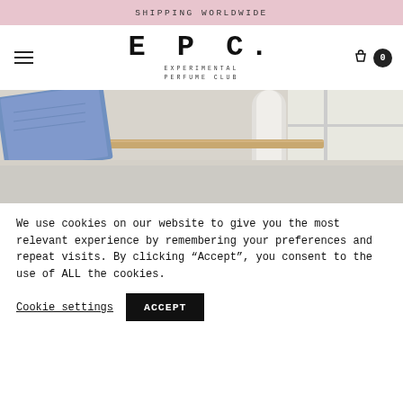Shipping Worldwide
[Figure (logo): EPC. Experimental Perfume Club logo with hamburger menu icon on left and shopping bag icon with 0 count on right]
[Figure (photo): Close-up photo of a perfume creation workspace with a blue notebook, wooden strip, and white cylindrical object on a light surface near a window]
We use cookies on our website to give you the most relevant experience by remembering your preferences and repeat visits. By clicking “Accept”, you consent to the use of ALL the cookies.
Cookie settings  ACCEPT